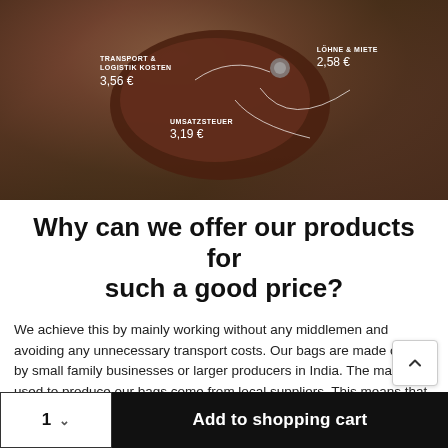[Figure (photo): A dark maroon leather wallet held in a hand over grass, with overlaid German pricing labels: TRANSPORT & LOGISTIK KOSTEN 3,56 €, UMSATZSTEUER 3,19 €, LÖHNE & MIETE 2,58 €]
Why can we offer our products for such a good price?
We achieve this by mainly working without any middlemen and avoiding any unnecessary transport costs. Our bags are made on-site by small family businesses or larger producers in India. The materials used to produce our bags come from local suppliers. This means that the materials don't have to travel far and transport costs are kept low. The finished leather products are shipped directly to us in Europe and are ready to